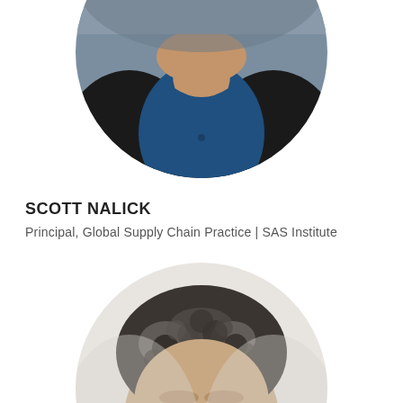[Figure (photo): Circular headshot photo of Scott Nalick, a man wearing a dark blazer over a blue shirt, cropped to show chest and neck area, top portion of page]
SCOTT NALICK
Principal, Global Supply Chain Practice | SAS Institute
[Figure (photo): Circular headshot photo of a second person, a man with curly salt-and-pepper hair, showing top of head and forehead, bottom portion of page]